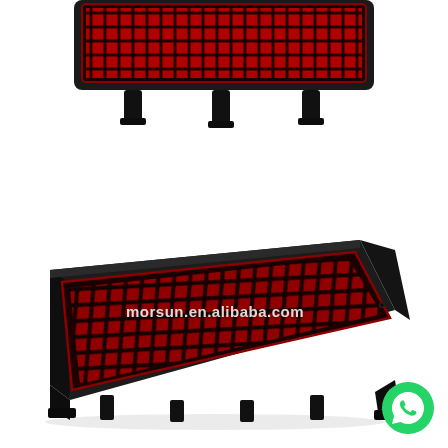[Figure (photo): Top view of a black automotive LED brake light / third brake lamp unit, partially cropped at top of image. The unit shows a red LED matrix lens surface and black mounting brackets/clips at the bottom. White background.]
[Figure (photo): Full angled view of a black automotive LED brake light / third brake lamp unit (Morsun brand). The rectangular unit has a red LED matrix lens surface visible through a dark red lens cover, with black housing and mounting bracket clips at the bottom. Watermark text 'morsun.en.alibaba.com' overlaid on image. White background.]
[Figure (logo): WhatsApp green circular logo icon in bottom-right corner.]